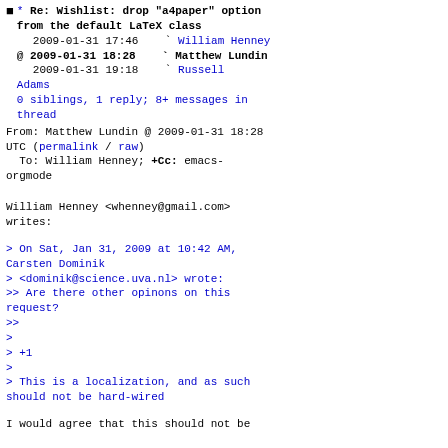* Re: Wishlist: drop "a4paper" option from the default LaTeX class
  2009-01-31 17:46   ` William Henney
@ 2009-01-31 18:28   ` Matthew Lundin
  2009-01-31 19:18   ` Russell Adams
  0 siblings, 1 reply; 8+ messages in thread
From: Matthew Lundin @ 2009-01-31 18:28 UTC (permalink / raw)
  To: William Henney; +Cc: emacs-orgmode
William Henney <whenney@gmail.com> writes:
> On Sat, Jan 31, 2009 at 10:42 AM, Carsten Dominik
> <dominik@science.uva.nl> wrote:
>> Are there other opinons on this request?
>>
>
> +1
>
> This is a localization, and as such should not be hard-wired
I would agree that this should not be